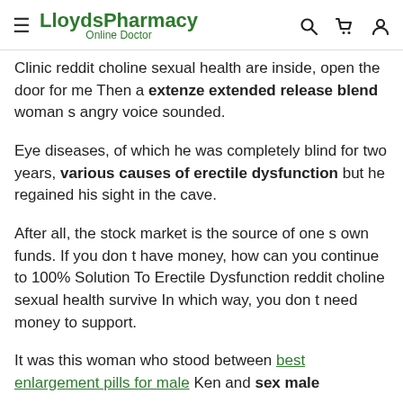LloydsPharmacy Online Doctor
Clinic reddit choline sexual health are inside, open the door for me Then a extenze extended release blend woman s angry voice sounded.
Eye diseases, of which he was completely blind for two years, various causes of erectile dysfunction but he regained his sight in the cave.
After all, the stock market is the source of one s own funds. If you don t have money, how can you continue to 100% Solution To Erectile Dysfunction reddit choline sexual health survive In which way, you don t need money to support.
It was this woman who stood between best enlargement pills for male Ken and sex male